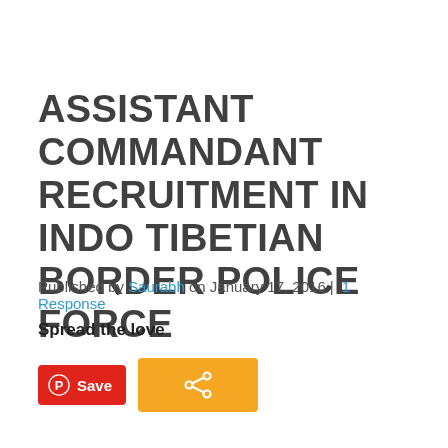ASSISTANT COMMANDANT RECRUITMENT IN INDO TIBETIAN BORDER POLICE FORCE
Published by Saurabh on January 17, 2016 | 1 Response
Spread the love
[Figure (other): Pinterest Save button (red) and Share button (orange) for social sharing]